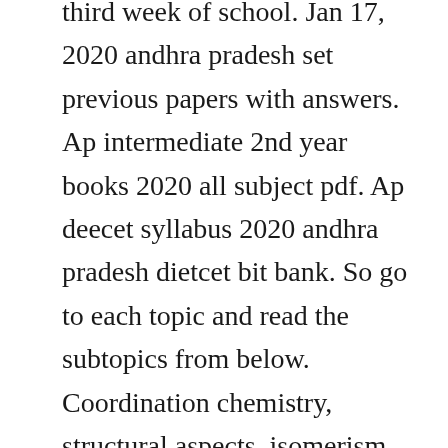third week of school. Jan 17, 2020 andhra pradesh set previous papers with answers. Ap intermediate 2nd year books 2020 all subject pdf. Ap deecet syllabus 2020 andhra pradesh dietcet bit bank. So go to each topic and read the subtopics from below. Coordination chemistry, structural aspects, isomerism, octahedral and tetrahedral crystalfield spliting of dorbitals. If you dont know the proper syllabus, then you cant make a perfect preparation plan. One of the sample syllabi or the ap unit guides can be submitted for course